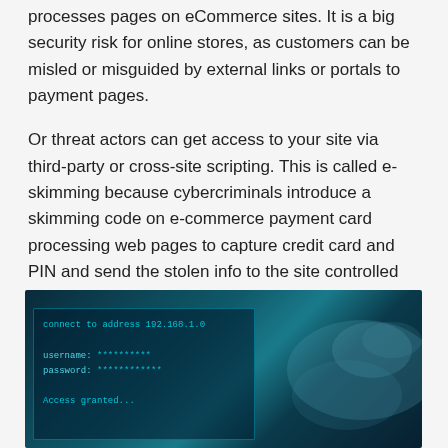processes pages on eCommerce sites. It is a big security risk for online stores, as customers can be misled or misguided by external links or portals to payment pages.
Or threat actors can get access to your site via third-party or cross-site scripting. This is called e-skimming because cybercriminals introduce a skimming code on e-commerce payment card processing web pages to capture credit card and PIN and send the stolen info to the site controlled by them.
[Figure (photo): A dark teal-toned photo showing hands on a computer keyboard/mouse with a terminal screen showing login credentials including 'connect to address 192.168.1.0', username and password fields with asterisks, and 'Access granted...' text, suggesting a hacking/cybersecurity scenario.]